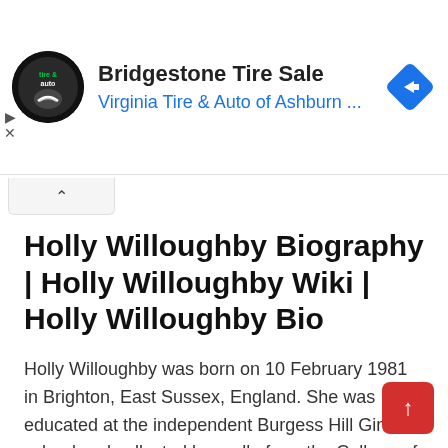[Figure (screenshot): Advertisement banner for Bridgestone Tire Sale by Virginia Tire & Auto of Ashburn, with circular logo, navigation diamond icon, and ad control symbols]
Holly Willoughby Biography | Holly Willoughby Wiki | Holly Willoughby Bio
Holly Willoughby was born on 10 February 1981 in Brighton, East Sussex, England. She was educated at the independent Burgess Hill Girls school and collected her colle from the College of Richard Collyer in